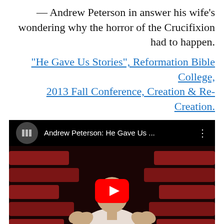— Andrew Peterson in answer his wife's wondering why the horror of the Crucifixion had to happen.
"He Gave Us Stories", Reformation Bible College, 2013 Fall Conference, Creation & Re-Creation.
[Figure (screenshot): YouTube video thumbnail showing Andrew Peterson speaking on stage in a theater with red seats. Video title bar reads 'Andrew Peterson: He Gave Us ...' with a YouTube play button overlay.]